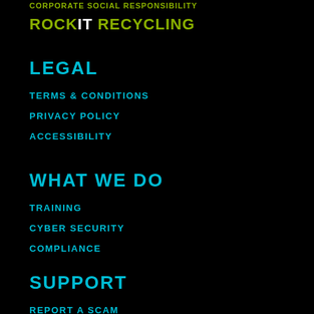CORPORATE SOCIAL RESPONSIBILITY
ROCKIT RECYCLING
LEGAL
TERMS & CONDITIONS
PRIVACY POLICY
ACCESSIBILITY
WHAT WE DO
TRAINING
CYBER SECURITY
COMPLIANCE
SUPPORT
REPORT A SCAM
CONTACT US